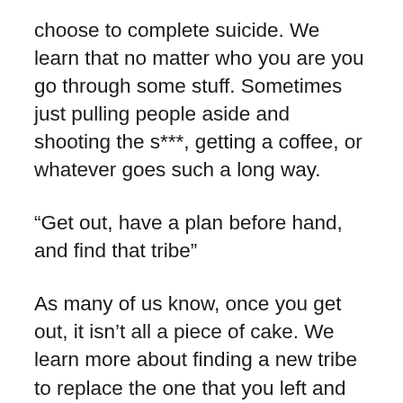choose to complete suicide. We learn that no matter who you are you go through some stuff. Sometimes just pulling people aside and shooting the s***, getting a coffee, or whatever goes such a long way.
“Get out, have a plan before hand, and find that tribe”
As many of us know, once you get out, it isn’t all a piece of cake. We learn more about finding a new tribe to replace the one that you left and how to make that one part of your life. We learn a lot about difficulties once you get out from his perspective and how doing something every day to make himself better has kept him grounded. Giving back is always a fantastic idea, as we learn